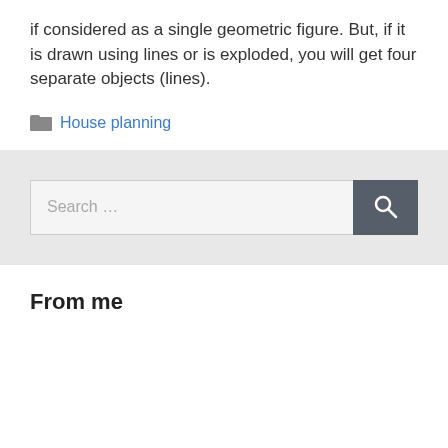if considered as a single geometric figure. But, if it is drawn using lines or is exploded, you will get four separate objects (lines).
House planning
Search ...
From me